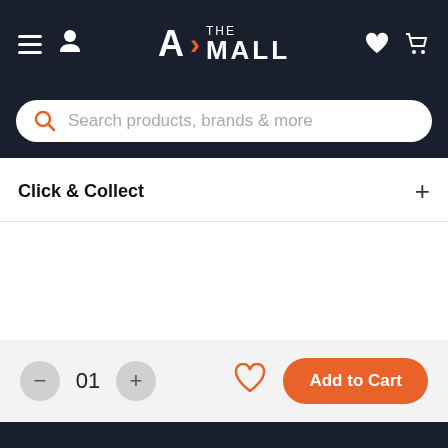A> THE MALL — navigation header with hamburger, user icon, logo, heart, and cart icons
Search products, brands & more
Click & Collect
01
Add to Cart
We use cookies to give you the best online experience. By using our website you agree to our use of cookies in accordance with our privacy policy
Continue